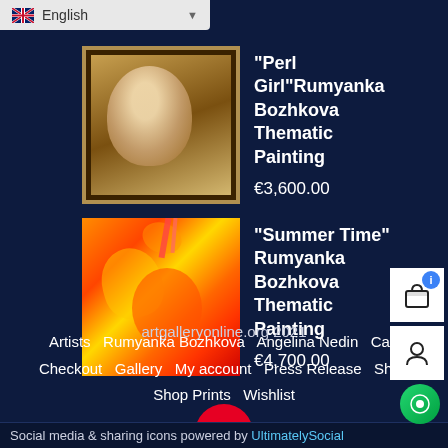English
"Perl Girl"Rumyanka Bozhkova Thematic Painting
€3,600.00
"Summer Time" Rumyanka Bozhkova Thematic Painting
€4,700.00
[Figure (logo): Pinterest red circular button with P logo]
artgalleryonline.org 2021
Artists  Rumyanka Bozhkova  Angelina Nedin  Cart  Checkout  Gallery  My account  Press Release  Shop  Shop Prints  Wishlist
Social media & sharing icons powered by UltimatelySocial